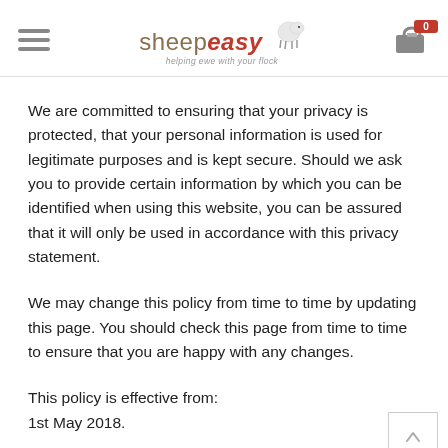[Figure (logo): ShEEPeasy logo with sheep illustration and tagline 'helping ewe with your flock']
We are committed to ensuring that your privacy is protected, that your personal information is used for legitimate purposes and is kept secure. Should we ask you to provide certain information by which you can be identified when using this website, you can be assured that it will only be used in accordance with this privacy statement.
We may change this policy from time to time by updating this page. You should check this page from time to time to ensure that you are happy with any changes.
This policy is effective from:
1st May 2018.